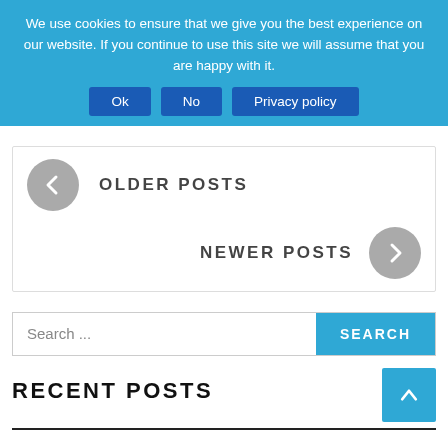We use cookies to ensure that we give you the best experience on our website. If you continue to use this site we will assume that you are happy with it.
Ok | No | Privacy policy
[Figure (screenshot): Navigation box with OLDER POSTS (left arrow icon) and NEWER POSTS (right arrow icon)]
Search ...
SEARCH
RECENT POSTS